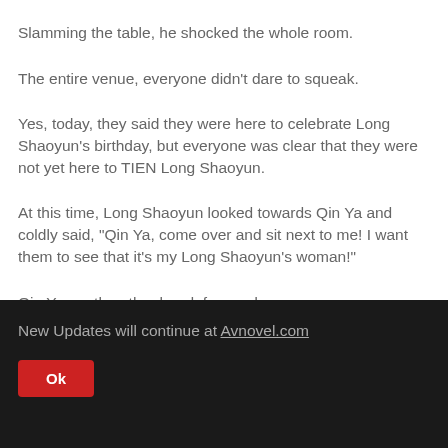Slamming the table, he shocked the whole room.
The entire venue, everyone didn't dare to squeak.
Yes, today, they said they were here to celebrate Long Shaoyun's birthday, but everyone was clear that they were not yet here to TIEN Long Shaoyun.
At this time, Long Shaoyun looked towards Qin Ya and coldly said, "Qin Ya, come over and sit next to me! I want them to see that it's my Long Shaoyun's woman!"
Qin Ya, on the other hand, frowned.
New Updates will continue at Avnovel.com